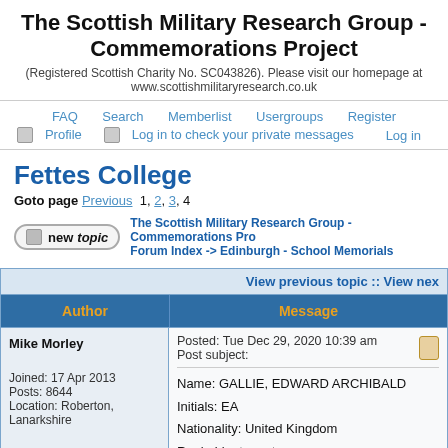The Scottish Military Research Group - Commemorations Project
(Registered Scottish Charity No. SC043826). Please visit our homepage at www.scottishmilitaryresearch.co.uk
FAQ  Search  Memberlist  Usergroups  Register  Profile  Log in to check your private messages  Log in
Fettes College
Goto page Previous 1, 2, 3, 4
The Scottish Military Research Group - Commemorations Project Forum Index -> Edinburgh - School Memorials
| Author | Message |
| --- | --- |
| Mike Morley

Joined: 17 Apr 2013
Posts: 8644
Location: Roberton, Lanarkshire | Posted: Tue Dec 29, 2020 10:39 am  Post subject:

Name: GALLIE, EDWARD ARCHIBALD
Initials: EA
Nationality: United Kingdom
Rank: Lieutenant
Regiment/Service: Highland Light Infantry: 17th Bn |